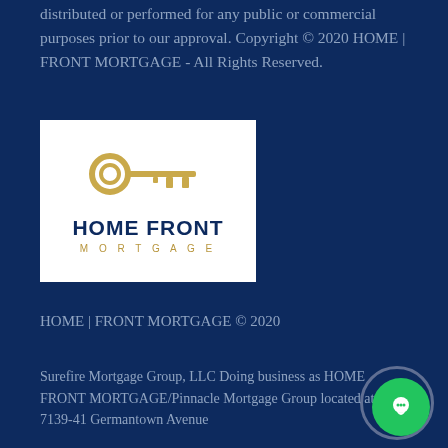distributed or performed for any public or commercial purposes prior to our approval. Copyright © 2020 HOME | FRONT MORTGAGE - All Rights Reserved.
[Figure (logo): Home Front Mortgage logo: a gold-colored key above bold dark navy text reading HOME FRONT and below it MORTGAGE in gold spaced letters, on a white background.]
HOME | FRONT MORTGAGE © 2020
Surefire Mortgage Group, LLC Doing business as HOME FRONT MORTGAGE/Pinnacle Mortgage Group located at 7139-41 Germantown Avenue